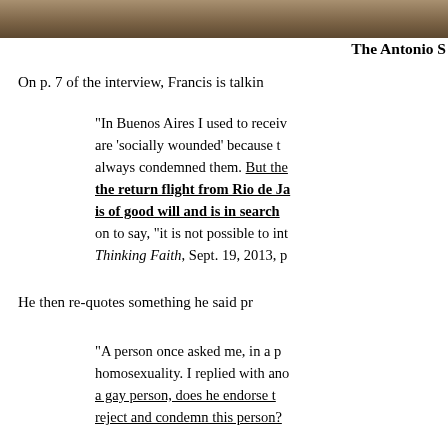[Figure (photo): Cropped image at top of page showing a partial scene, brownish tones]
The Antonio S
On p. 7 of the interview, Francis is talkin
“In Buenos Aires I used to receiv… are ‘socially wounded’ because t… always condemned them. But the… the return flight from Rio de Ja… is of good will and is in search… on to say, “it is not possible to int… Thinking Faith, Sept. 19, 2013, p…
He then re-quotes something he said pr
“A person once asked me, in a p… homosexuality. I replied with ano… a gay person, does he endorse t… reject and condemn this person?…